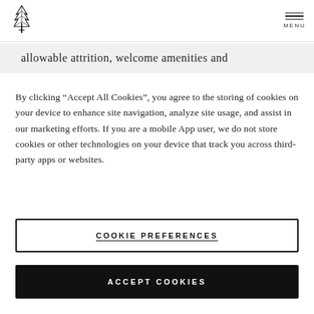[Figure (logo): Tree/pine logo in black ink, top left]
MENU
allowable attrition, welcome amenities and
By clicking “Accept All Cookies”, you agree to the storing of cookies on your device to enhance site navigation, analyze site usage, and assist in our marketing efforts. If you are a mobile App user, we do not store cookies or other technologies on your device that track you across third-party apps or websites.
COOKIE PREFERENCES
ACCEPT COOKIES